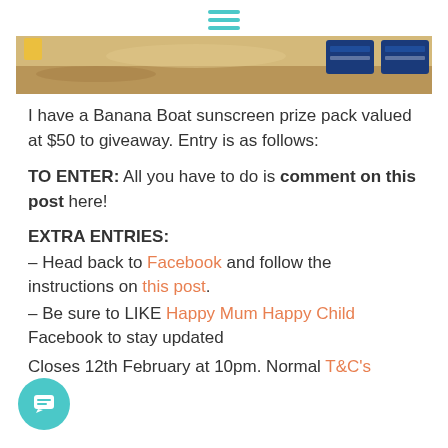≡ (hamburger menu icon)
[Figure (photo): Beach scene banner image with sand and Banana Boat sunscreen products visible on the right side]
I have a Banana Boat sunscreen prize pack valued at $50 to giveaway. Entry is as follows:
TO ENTER: All you have to do is comment on this post here!
EXTRA ENTRIES:
– Head back to Facebook and follow the instructions on this post.
– Be sure to LIKE Happy Mum Happy Child Facebook to stay updated
Closes 12th February at 10pm. Normal T&C's